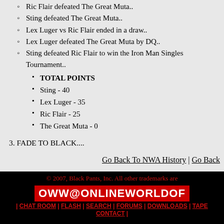Ric Flair defeated The Great Muta..
Sting defeated The Great Muta..
Lex Luger vs Ric Flair ended in a draw..
Lex Luger defeated The Great Muta by DQ..
Sting defeated Ric Flair to win the Iron Man Singles Tournament..
TOTAL POINTS
Sting - 40
Lex Luger - 35
Ric Flair - 25
The Great Muta - 0
3. FADE TO BLACK....
Go Back To NWA History | Go Back
© 2007, Black Pants, Inc. All other trademarks are
OWW@ONLINEWORLDOF
| CHAT ROOM | FLASH | SEARCH | FORUMS | DOWNLOADS | TAPE | CONTACT |
ONLINE WORLD O